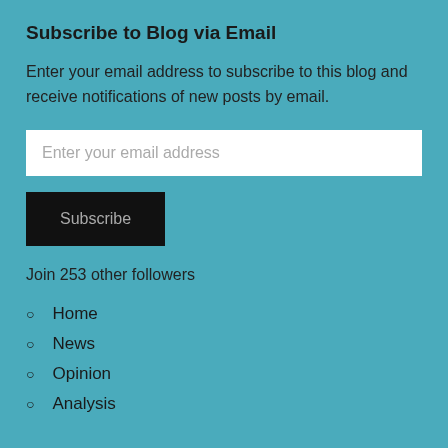Subscribe to Blog via Email
Enter your email address to subscribe to this blog and receive notifications of new posts by email.
Enter your email address
Subscribe
Join 253 other followers
Home
News
Opinion
Analysis